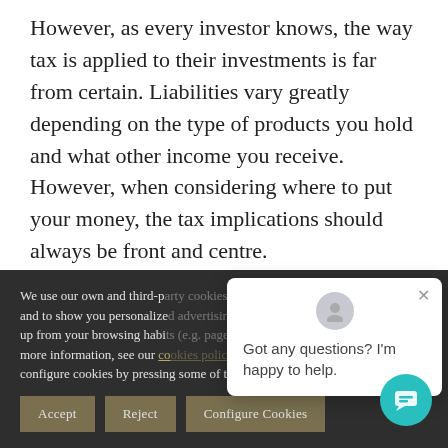However, as every investor knows, the way tax is applied to their investments is far from certain. Liabilities vary greatly depending on the type of products you hold and what other income you receive. However, when considering where to put your money, the tax implications should always be front and centre.
We use our own and third-p... and to show you personalize... up from your browsing habi... more information, see our co... configure cookies by pressing some of the following buttons
Got any questions? I'm happy to help.